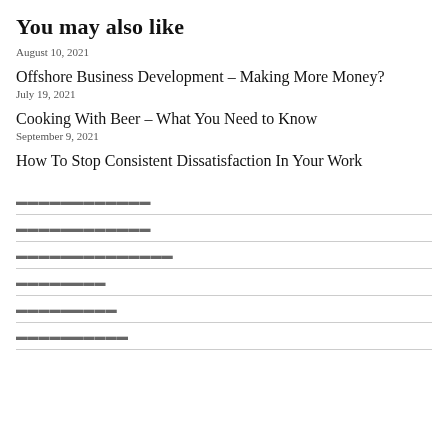You may also like
August 10, 2021
Offshore Business Development – Making More Money?
July 19, 2021
Cooking With Beer – What You Need to Know
September 9, 2021
How To Stop Consistent Dissatisfaction In Your Work
▬▬▬▬▬▬▬▬▬▬▬▬
▬▬▬▬▬▬▬▬▬▬▬▬
▬▬▬▬▬▬▬▬▬▬▬▬▬▬
▬▬▬▬▬▬▬▬
▬▬▬▬▬▬▬▬▬
▬▬▬▬▬▬▬▬▬▬